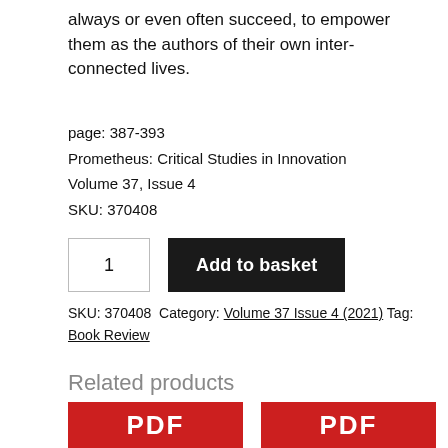always or even often succeed, to empower them as the authors of their own inter-connected lives.
page: 387-393
Prometheus: Critical Studies in Innovation
Volume 37, Issue 4
SKU: 370408
SKU: 370408 Category: Volume 37 Issue 4 (2021) Tag: Book Review
Related products